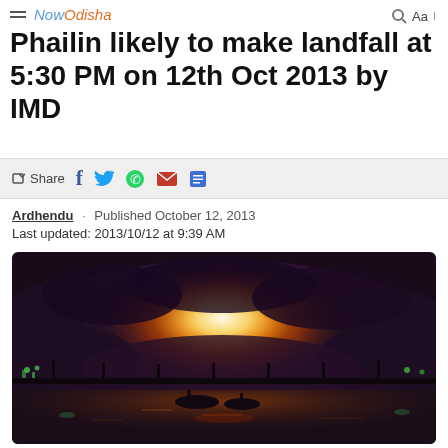NowOdisha
Phailin likely to make landfall at 5:30 PM on 12th Oct 2013 by IMD
Share (social icons: Facebook, Twitter, WhatsApp, Email, Print)
Ardhendu · Published October 12, 2013
Last updated: 2013/10/12 at 9:39 AM
[Figure (photo): Dramatic nighttime photograph showing a massive lightning storm illuminating dark storm clouds with orange and yellow light over a waterway with a bridge and boats visible in the foreground.]